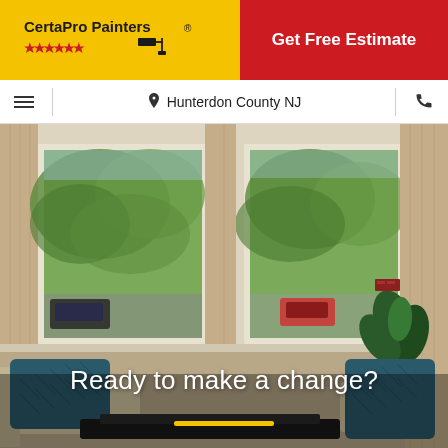[Figure (logo): CertaPro Painters logo on yellow background with red stars and paint roller icon]
Get Free Estimate
Hunterdon County NJ
[Figure (photo): Interior living room scene with large windows, beige curtains, teal throw pillows on beige chairs, dark coffee table, and a plant in the right corner. Green trees visible outside the windows and cars parked on the street.]
Ready to make a change?